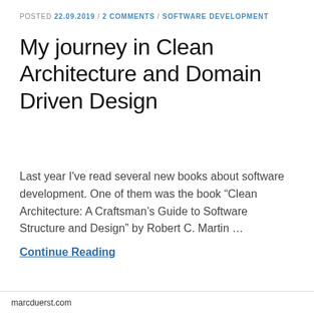POSTED 22.09.2019 / 2 COMMENTS / SOFTWARE DEVELOPMENT
My journey in Clean Architecture and Domain Driven Design
Last year I've read several new books about software development. One of them was the book “Clean Architecture: A Craftsman’s Guide to Software Structure and Design” by Robert C. Martin …
Continue Reading
marcduerst.com